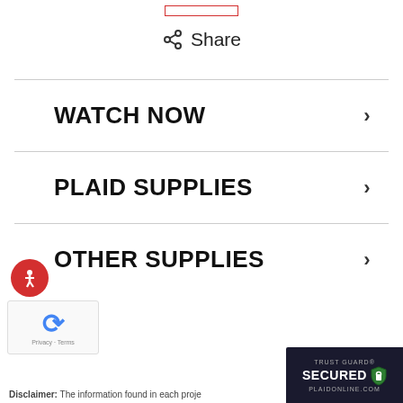[Figure (other): Small red-outlined button/rectangle at top center of page]
Share
WATCH NOW
PLAID SUPPLIES
[Figure (logo): Accessibility icon - red circle with wheelchair user symbol]
OTHER SUPPLIES
[Figure (logo): reCAPTCHA widget with Privacy - Terms label]
[Figure (logo): Trust Guard Secured badge - PLAIDONLINE.COM]
Disclaimer: The information found in each proje